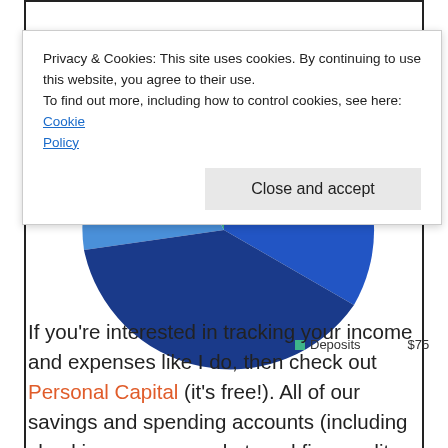[Figure (pie-chart): Partial pie chart showing financial categories including Deposits ($75), visible at top and bottom of page behind cookie banner. Pie is blue and teal/green colored.]
Privacy & Cookies: This site uses cookies. By continuing to use this website, you agree to their use.
To find out more, including how to control cookies, see here: Cookie Policy
Close and accept
Deposits $75
If you’re interested in tracking your income and expenses like I do, then check out Personal Capital (it’s free!). All of our savings and spending accounts (including checking, money market, and five credit cards) are all linked and updated in real time through